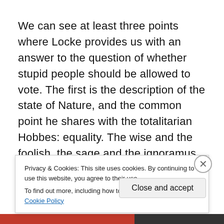We can see at least three points where Locke provides us with an answer to the question of whether stupid people should be allowed to vote. The first is the description of the state of Nature, and the common point he shares with the totalitarian Hobbes: equality. The wise and the foolish, the sage and the ignoramus are all essentially equal. For Hobbes, this contention was based on his utter pessimism: believing all people are basically irrational and
Privacy & Cookies: This site uses cookies. By continuing to use this website, you agree to their use.
To find out more, including how to control cookies, see here: Cookie Policy
Close and accept